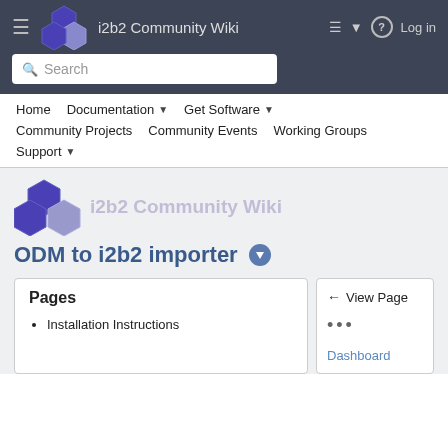i2b2 Community Wiki
Search
Home  Documentation  Get Software  Community Projects  Community Events  Working Groups  Support
[Figure (logo): i2b2 Community Wiki logo with hexagonal icons]
ODM to i2b2 importer
Pages
Installation Instructions
View Page
Dashboard